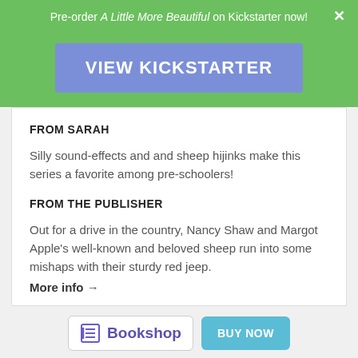Pre-order A Little More Beautiful on Kickstarter now! ×
[Figure (other): Green banner with blue 'VIEW KICKSTARTER' button]
FROM SARAH
Silly sound-effects and and sheep hijinks make this series a favorite among pre-schoolers!
FROM THE PUBLISHER
Out for a drive in the country, Nancy Shaw and Margot Apple's well-known and beloved sheep run into some mishaps with their sturdy red jeep.
More info →
[Figure (logo): Bookshop logo with BUY NOW button]